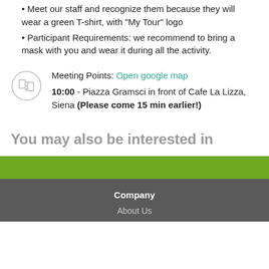Meet our staff and recognize them because they will wear a green T-shirt, with “My Tour” logo
Participant Requirements: we recommend to bring a mask with you and wear it during all the activity.
Meeting Points: Open google map
10:00 - Piazza Gramsci in front of Cafe La Lizza, Siena (Please come 15 min earlier!)
You may also be interested in
Company
About Us